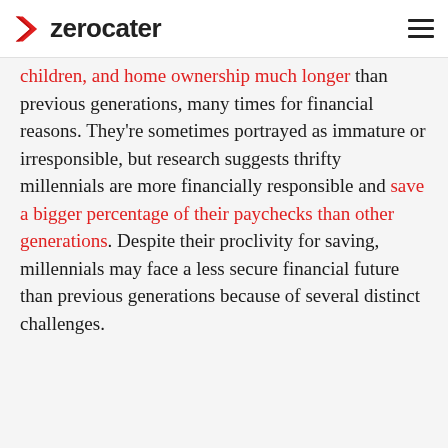zerocater
children, and home ownership much longer than previous generations, many times for financial reasons. They're sometimes portrayed as immature or irresponsible, but research suggests thrifty millennials are more financially responsible and save a bigger percentage of their paychecks than other generations. Despite their proclivity for saving, millennials may face a less secure financial future than previous generations because of several distinct challenges.